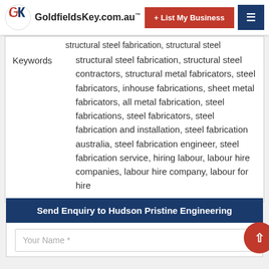GoldfieldsKey.com.au
|  |  |
| --- | --- |
| Keywords | structural steel fabrication, structural steel contractors, structural metal fabricators, steel fabricators, inhouse fabrications, sheet metal fabricators, all metal fabrication, steel fabrications, steel fabricators, steel fabrication and installation, steel fabrication australia, steel fabrication engineer, steel fabrication service, hiring labour, labour hire companies, labour hire company, labour for hire |
Send Enquiry to Hudson Pristine Engineering
Your Name *